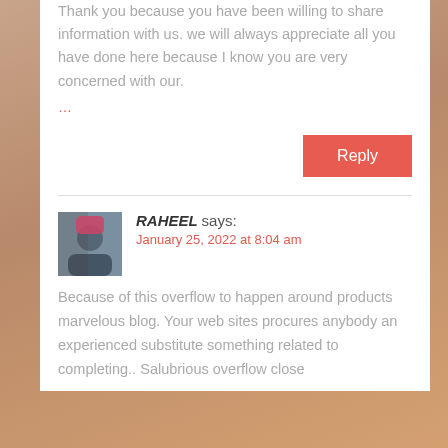Thank you because you have been willing to share information with us. we will always appreciate all you have done here because I know you are very concerned with our.
…
Reply
RAHEEL says:
January 25, 2022 at 8:04 am
Because of this overflow to happen around products marvelous blog. Your web sites procures anybody an experienced substitute something related to completing.. Salubrious overflow close